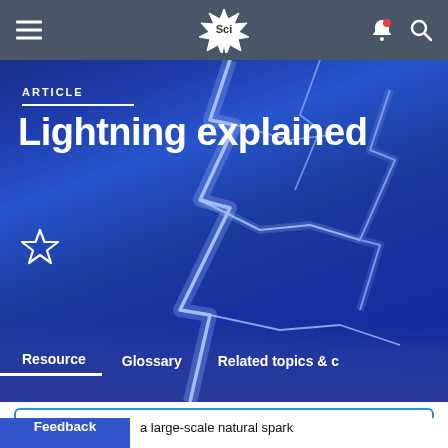Sci (navigation bar with hamburger menu, logo, notification and search icons)
[Figure (photo): Hero image of lightning bolts against a dramatic blue stormy sky, with article label 'ARTICLE' and title 'Lightning explained', a star/bookmark icon, and navigation tabs: Resource, Glossary, Related topics & c...]
Lightning explained
Add to collection +
a large-scale natural spark
at occurs within the atmosphere or